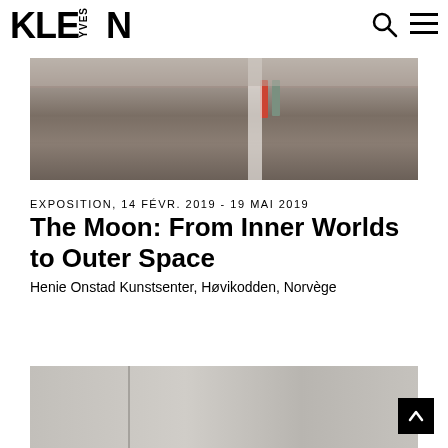KLEIN YVES
[Figure (photo): Interior gallery/museum floor photo showing a polished wood floor with a person visible in the background, taken from low angle]
EXPOSITION, 14 FÉVR. 2019 - 19 MAI 2019
The Moon: From Inner Worlds to Outer Space
Henie Onstad Kunstsenter, Høvikodden, Norvège
[Figure (photo): Partial view of another gallery/exhibition space photo at bottom of page, light gray tones]